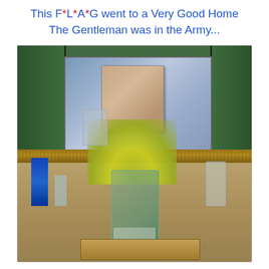This F*L*A*G went to a Very Good Home The Gentleman was in the Army...
[Figure (photo): Photograph of a rustic outdoor market or antique display with a weathered green wooden shelving unit. On the lower shelf sits a mason jar filled with yellow wildflowers tied with a ribbon, flanked by small glass bottles including a blue one and clear ones. A wooden tray is visible. In the background is a mirror or window reflecting an outdoor scene, and a small photograph or picture frame is propped up.]